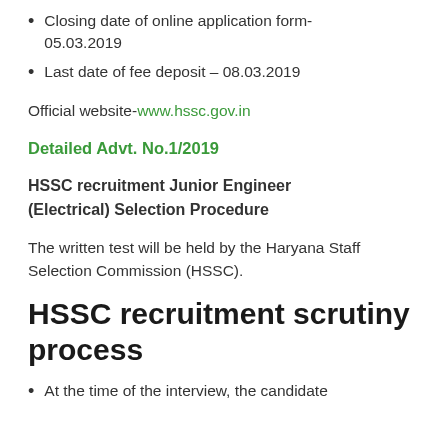Closing date of online application form- 05.03.2019
Last date of fee deposit – 08.03.2019
Official website-www.hssc.gov.in
Detailed Advt. No.1/2019
HSSC recruitment Junior Engineer (Electrical) Selection Procedure
The written test will be held by the Haryana Staff Selection Commission (HSSC).
HSSC recruitment scrutiny process
At the time of the interview, the candidate